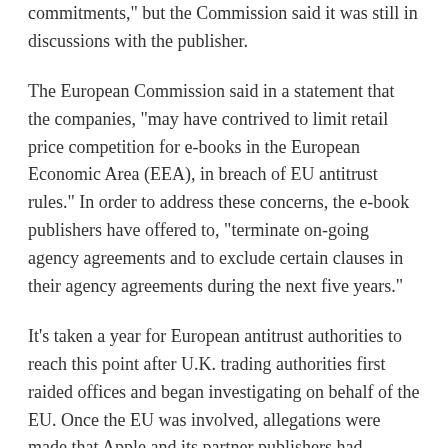commitments," but the Commission said it was still in discussions with the publisher.
The European Commission said in a statement that the companies, "may have contrived to limit retail price competition for e-books in the European Economic Area (EEA), in breach of EU antitrust rules." In order to address these concerns, the e-book publishers have offered to, "terminate on-going agency agreements and to exclude certain clauses in their agency agreements during the next five years."
It's taken a year for European antitrust authorities to reach this point after U.K. trading authorities first raided offices and began investigating on behalf of the EU. Once the EU was involved, allegations were made that Apple and its partner publishers had conspired to restrict competition by fixing the prices of e-books.
To continue reading the report by Zack Whittaker for Between the